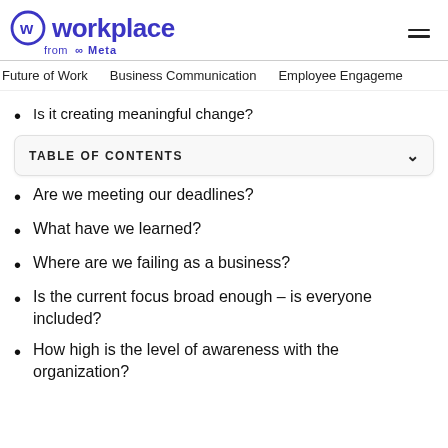Workplace from Meta
Future of Work   Business Communication   Employee Engagement
Is it creating meaningful change?
TABLE OF CONTENTS
Are we meeting our deadlines?
What have we learned?
Where are we failing as a business?
Is the current focus broad enough – is everyone included?
How high is the level of awareness with the organization?